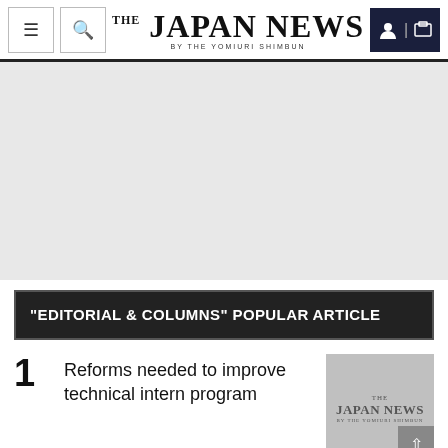THE JAPAN NEWS BY THE YOMIURI SHIMBUN
[Figure (other): Gray advertisement banner placeholder]
"EDITORIAL & COLUMNS" POPULAR ARTICLE
1 Reforms needed to improve technical intern program